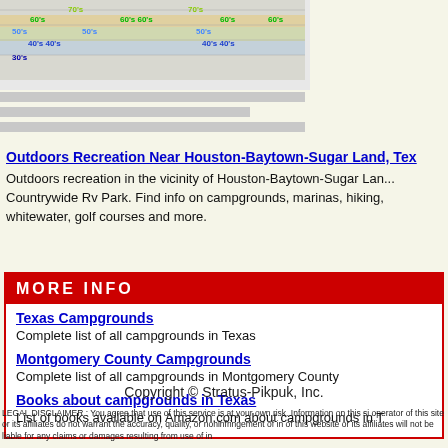[Figure (infographic): Weather temperature chart showing temperature bands labeled 30s, 40s, 50s, 60s, 70s in colored text over a grid-style background]
Outdoors Recreation Near Houston-Baytown-Sugar Land, Tex
Outdoors recreation in the vicinity of Houston-Baytown-Sugar Land... Countrywide Rv Park. Find info on campgrounds, marinas, hiking, whitewater, golf courses and more.
MORE INFO
Texas Campgrounds
Complete list of all campgrounds in Texas
Montgomery County Campgrounds
Complete list of all campgrounds in Montgomery County
Books about campgrounds in Texas
List of books available on Amazon.com about campgrounds in T
Copyright © Stratus-Pikpuk, Inc.
LEGAL DISCLAIMER : You agree that use of this service is at your own risk. Information on this si operator of this site or its affiliates do not warrant the accuracy, quality, or noninfringement of in of this website or its affiliates will not be liable for any claims or damages resulting from use of in